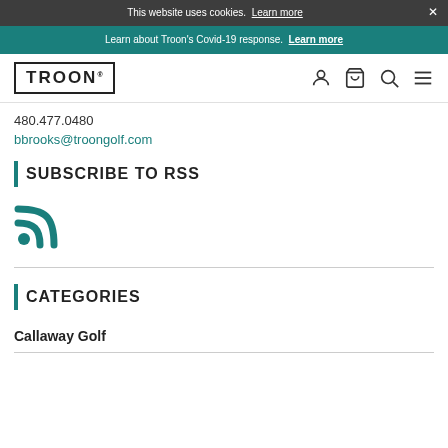This website uses cookies. Learn more
Learn about Troon's Covid-19 response. Learn more
TROON® [nav icons: user, cart, search, menu]
480.477.0480
bbrooks@troongolf.com
SUBSCRIBE TO RSS
[Figure (other): RSS feed icon in teal/blue color]
CATEGORIES
Callaway Golf